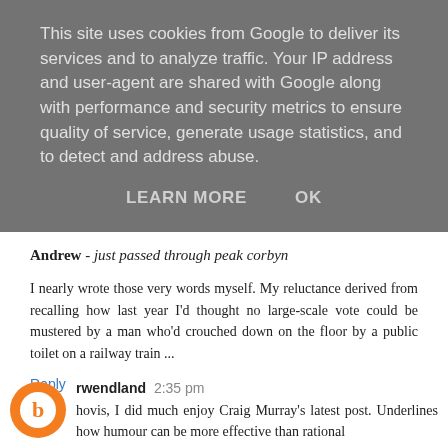This site uses cookies from Google to deliver its services and to analyze traffic. Your IP address and user-agent are shared with Google along with performance and security metrics to ensure quality of service, generate usage statistics, and to detect and address abuse.
LEARN MORE   OK
this, too...)
Andrew - just passed through peak corbyn
I nearly wrote those very words myself. My reluctance derived from recalling how last year I'd thought no large-scale vote could be mustered by a man who'd crouched down on the floor by a public toilet on a railway train ...
Reply
rwendland 2:35 pm
hovis, I did much enjoy Craig Murray's latest post. Underlines how humour can be more effective than rational